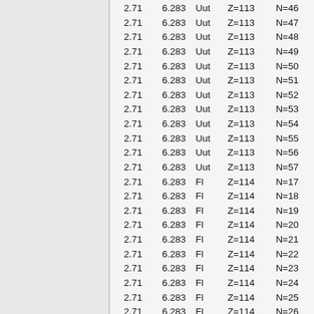| col1 | col2 | element | Z | N |
| --- | --- | --- | --- | --- |
| 2.71 | 6.283 | Uut | Z=113 | N=46 |
| 2.71 | 6.283 | Uut | Z=113 | N=47 |
| 2.71 | 6.283 | Uut | Z=113 | N=48 |
| 2.71 | 6.283 | Uut | Z=113 | N=49 |
| 2.71 | 6.283 | Uut | Z=113 | N=50 |
| 2.71 | 6.283 | Uut | Z=113 | N=51 |
| 2.71 | 6.283 | Uut | Z=113 | N=52 |
| 2.71 | 6.283 | Uut | Z=113 | N=53 |
| 2.71 | 6.283 | Uut | Z=113 | N=54 |
| 2.71 | 6.283 | Uut | Z=113 | N=55 |
| 2.71 | 6.283 | Uut | Z=113 | N=56 |
| 2.71 | 6.283 | Uut | Z=113 | N=57 |
| 2.71 | 6.283 | Fl | Z=114 | N=17 |
| 2.71 | 6.283 | Fl | Z=114 | N=18 |
| 2.71 | 6.283 | Fl | Z=114 | N=19 |
| 2.71 | 6.283 | Fl | Z=114 | N=20 |
| 2.71 | 6.283 | Fl | Z=114 | N=21 |
| 2.71 | 6.283 | Fl | Z=114 | N=22 |
| 2.71 | 6.283 | Fl | Z=114 | N=23 |
| 2.71 | 6.283 | Fl | Z=114 | N=24 |
| 2.71 | 6.283 | Fl | Z=114 | N=25 |
| 2.71 | 6.283 | Fl | Z=114 | N=26 |
| 2.71 | 6.283 | Fl | Z=114 | N=27 |
| 2.71 | 6.283 | Fl | Z=114 | N=28 |
| 2.71 | 6.283 | Fl | Z=114 | N=29 |